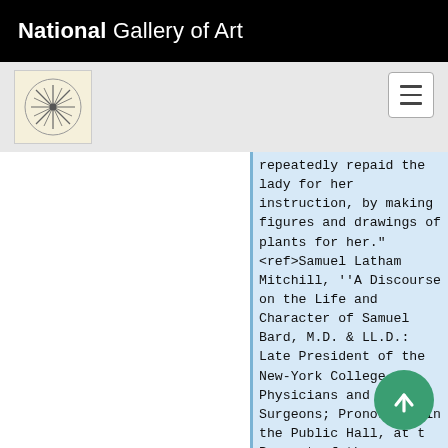National Gallery of Art
repeatedly repaid the lady for her instruction, by making figures and drawings of plants for her."<ref>Samuel Latham Mitchill, ''A Discourse on the Life and Character of Samuel Bard, M.D. & LL.D.: Late President of the New-York College of Physicians and Surgeons; Pronounced in the Public Hall, at the Request of the Trustees, on the 5th
[Figure (logo): Small circular stamp/logo with star-like pattern on cream background]
[Figure (illustration): Green circular scroll-to-top button with upward arrow]